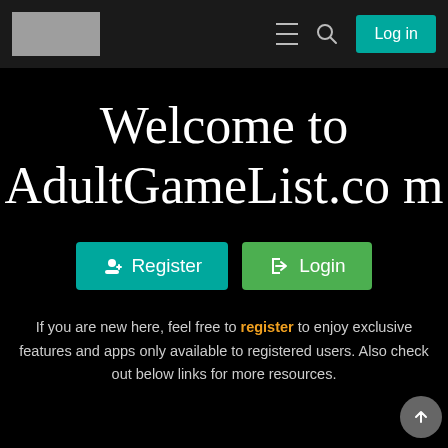AdultGameList.com navigation bar with logo, hamburger menu, search icon, and Log in button
Welcome to AdultGameList.com
Register  Login
If you are new here, feel free to register to enjoy exclusive features and apps only available to registered users. Also check out below links for more resources.